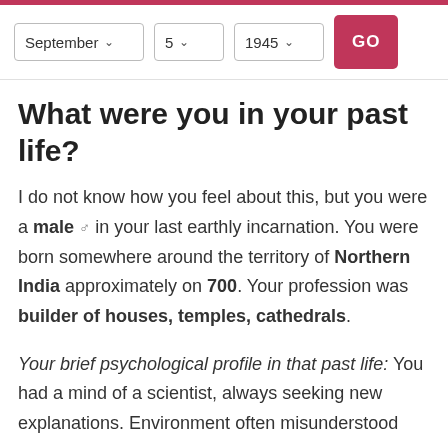September 5 1945 GO
What were you in your past life?
I do not know how you feel about this, but you were a male ♂ in your last earthly incarnation. You were born somewhere around the territory of Northern India approximately on 700. Your profession was builder of houses, temples, cathedrals.
Your brief psychological profile in that past life: You had a mind of a scientist, always seeking new explanations. Environment often misunderstood you